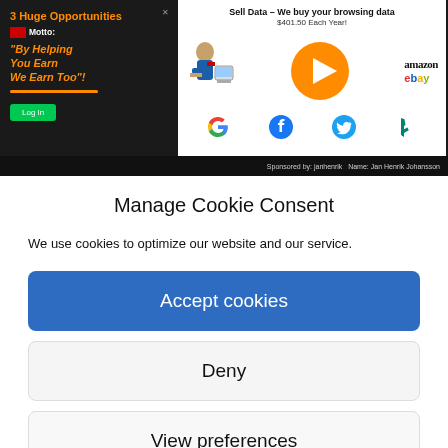[Figure (screenshot): Advertisement banner with dark left panel showing '3 Huge Opportunities' and motto 'By Helping You Earn We Earn Too!' with orange text and a green Log In button, and white right panel showing 'Sell Data – We buy your browsing data $401.50 Each Year!' with logos for Amazon, eBay, Google, Facebook, Twitter, and Bing. Bottom bar shows 'Sponsored by: janhenrik'.]
Manage Cookie Consent
We use cookies to optimize our website and our service.
Accept cookies
Deny
View preferences